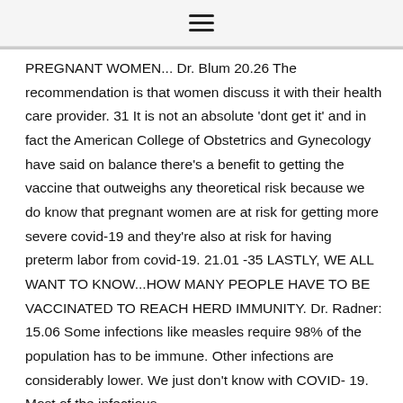≡
PREGNANT WOMEN... Dr. Blum 20.26 The recommendation is that women discuss it with their health care provider. 31 It is not an absolute 'dont get it' and in fact the American College of Obstetrics and Gynecology have said on balance there's a benefit to getting the vaccine that outweighs any theoretical risk because we do know that pregnant women are at risk for getting more severe covid-19 and they're also at risk for having preterm labor from covid-19. 21.01 -35 LASTLY, WE ALL WANT TO KNOW...HOW MANY PEOPLE HAVE TO BE VACCINATED TO REACH HERD IMMUNITY. Dr. Radner: 15.06 Some infections like measles require 98% of the population has to be immune. Other infections are considerably lower. We just don't know with COVID- 19. Most of the infectious